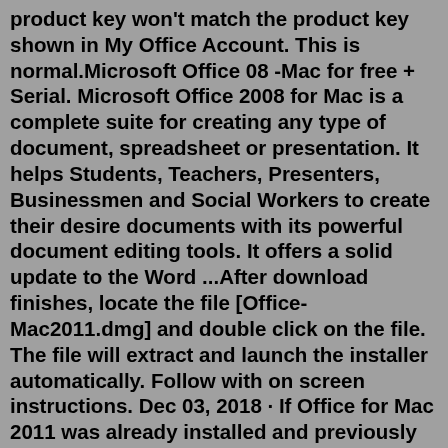product key won't match the product key shown in My Office Account. This is normal.Microsoft Office 08 -Mac for free + Serial. Microsoft Office 2008 for Mac is a complete suite for creating any type of document, spreadsheet or presentation. It helps Students, Teachers, Presenters, Businessmen and Social Workers to create their desire documents with its powerful document editing tools. It offers a solid update to the Word ...After download finishes, locate the file [Office-Mac2011.dmg] and double click on the file. The file will extract and launch the installer automatically. Follow with on screen instructions. Dec 03, 2018 · If Office for Mac 2011 was already installed and previously activated, please use the following free key finder to find your key. https://www.magicaljellybean.com/mac-keyfinder/. After finding the product key... please contact support and they will be able to investigate and determine whats the cause. Follow the steps stated here to generate and use the Microsoft Occie 2007 product key to unlock the features of Office 2007. Firstly, you